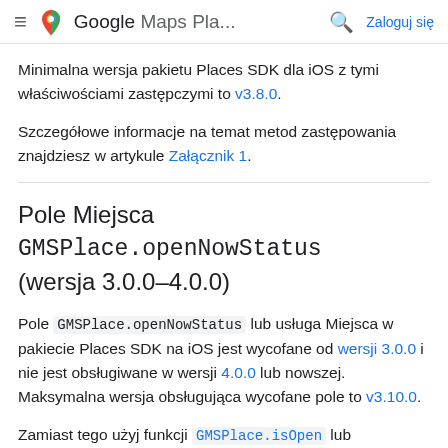Google Maps Pla...  Zaloguj się
Minimalna wersja pakietu Places SDK dla iOS z tymi właściwościami zastępczymi to v3.8.0.
Szczegółowe informacje na temat metod zastępowania znajdziesz w artykule Załącznik 1.
Pole Miejsca GMSPlace.openNowStatus (wersja 3.0.0–4.0.0)
Pole GMSPlace.openNowStatus lub usługa Miejsca w pakiecie Places SDK na iOS jest wycofane od wersji 3.0.0 i nie jest obsługiwane w wersji 4.0.0 lub nowszej. Maksymalna wersja obsługująca wycofane pole to v3.10.0.
Zamiast tego użyj funkcji GMSPlace.isOpen lub GMSPl...